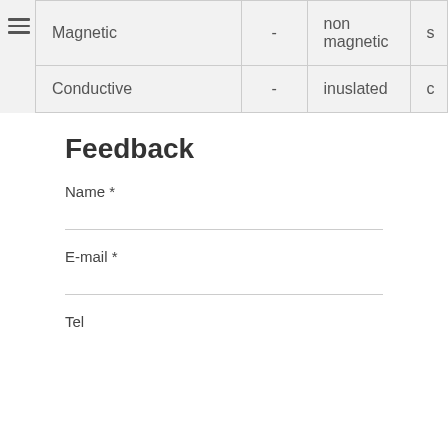| Property |  | Value1 | Value2 |
| --- | --- | --- | --- |
| Magnetic | - | non magnetic | s |
| Conductive | - | inuslated | c |
Feedback
Name *
E-mail *
Tel